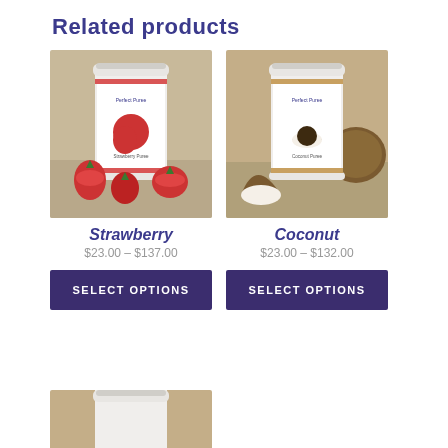Related products
[Figure (photo): White cylindrical container of Perfect Puree Strawberry Puree surrounded by fresh strawberries on a tan/beige background]
Strawberry
$23.00 – $137.00
SELECT OPTIONS
[Figure (photo): White cylindrical container of Perfect Puree Coconut Puree surrounded by fresh coconuts on a tan/beige background]
Coconut
$23.00 – $132.00
SELECT OPTIONS
[Figure (photo): Partial view of a white cylindrical container of Perfect Puree product on a tan/beige background, cut off at bottom of page]